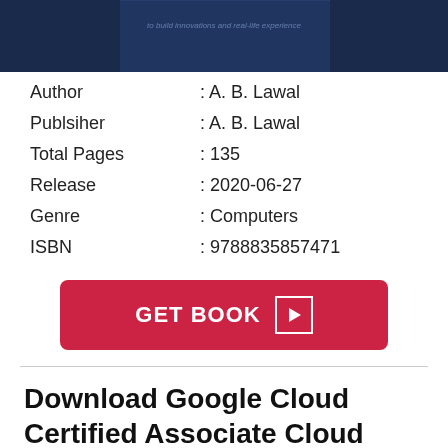[Figure (illustration): Top portion of a book cover with dark navy blue background and faint text about innovations and real-life experience]
Author : A. B. Lawal
Publsiher : A. B. Lawal
Total Pages : 135
Release : 2020-06-27
Genre : Computers
ISBN : 9788835857471
[Figure (other): Red rounded button with text GET BOOK and a play/arrow icon]
Download Google Cloud Certified Associate Cloud Engineer Certification Guide 1 Book in PDF Epub and Kindle